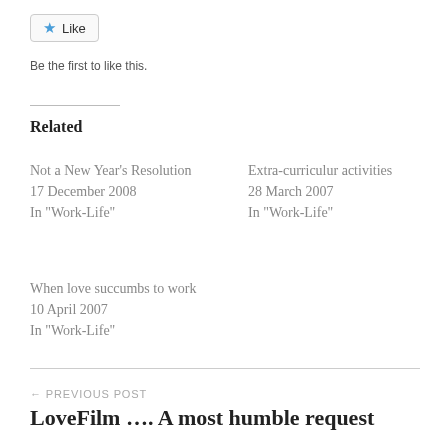[Figure (other): Like button with blue star icon and 'Like' text inside a rounded rectangle button]
Be the first to like this.
Related
Not a New Year's Resolution
17 December 2008
In "Work-Life"
Extra-curriculur activities
28 March 2007
In "Work-Life"
When love succumbs to work
10 April 2007
In "Work-Life"
← PREVIOUS POST
LoveFilm …. A most humble request